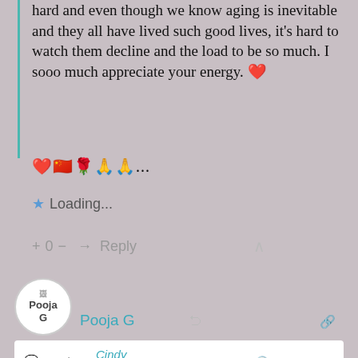hard and even though we know aging is inevitable and they all have lived such good lives, it's hard to watch them decline and the load to be so much. I sooo much appreciate your energy. ❤️ ❤️🇨🇳🌹🙏🙏...
★ Loading...
+ 0 — → Reply ∧
[Figure (screenshot): User avatar for Pooja G with broken image icon and initials]
Pooja G
Reply to Cindy Georgakas  2 months ago
Absolutely it can be so difficult to watch our parents get older. Yeah living with no attachments sounds wonderful- maybe someday! ❤️